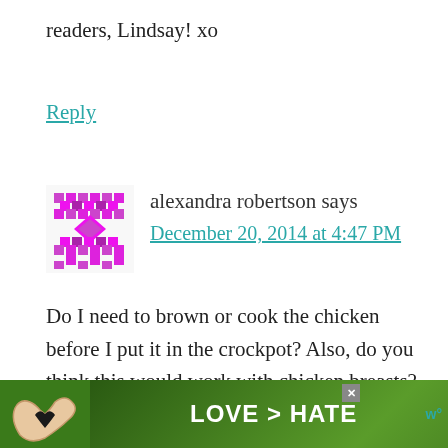readers, Lindsay! xo
Reply
alexandra robertson says
December 20, 2014 at 4:47 PM
Do I need to brown or cook the chicken before I put it in the crockpot? Also, do you think this would work with chicken breasts?
Reply
[Figure (photo): Advertisement banner showing hands forming a heart shape with text LOVE > HATE on a green outdoor background]